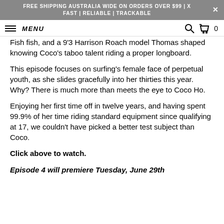FREE SHIPPING AUSTRALIA WIDE ON ORDERS OVER $99 | FAST | RELIABLE | TRACKABLE
MENU
Fish fish, and a 9’3 Harrison Roach model Thomas shaped knowing Coco’s taboo talent riding a proper longboard.
This episode focuses on surfing’s female face of perpetual youth, as she slides gracefully into her thirties this year. Why? There is much more than meets the eye to Coco Ho.
Enjoying her first time off in twelve years, and having spent 99.9% of her time riding standard equipment since qualifying at 17, we couldn’t have picked a better test subject than Coco.
Click above to watch.
Episode 4 will premiere Tuesday, June 29th